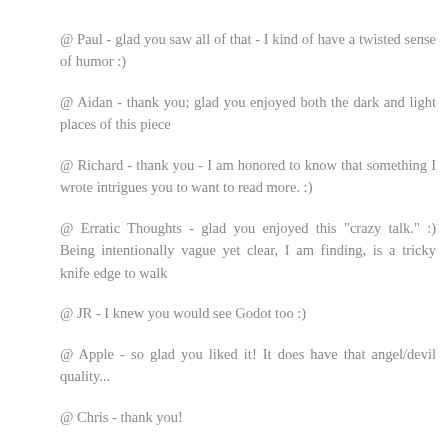@ Paul - glad you saw all of that - I kind of have a twisted sense of humor :)
@ Aidan - thank you; glad you enjoyed both the dark and light places of this piece
@ Richard - thank you - I am honored to know that something I wrote intrigues you to want to read more. :)
@ Erratic Thoughts - glad you enjoyed this "crazy talk." :) Being intentionally vague yet clear, I am finding, is a tricky knife edge to walk
@ JR - I knew you would see Godot too :)
@ Apple - so glad you liked it! It does have that angel/devil quality...
@ Chris - thank you!
@ Janey - fabulous insights! I'm so glad you enjoyed the